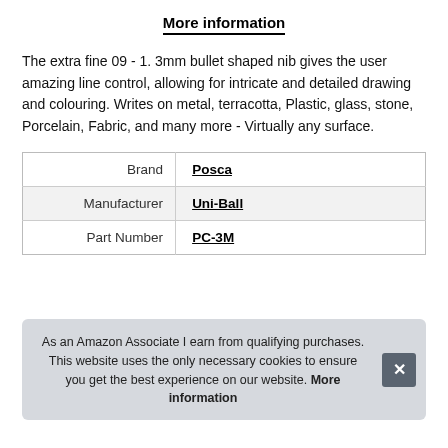More information
The extra fine 09 - 1. 3mm bullet shaped nib gives the user amazing line control, allowing for intricate and detailed drawing and colouring. Writes on metal, terracotta, Plastic, glass, stone, Porcelain, Fabric, and many more - Virtually any surface.
|  |  |
| --- | --- |
| Brand | Posca |
| Manufacturer | Uni-Ball |
| Part Number | PC-3M |
As an Amazon Associate I earn from qualifying purchases. This website uses the only necessary cookies to ensure you get the best experience on our website. More information